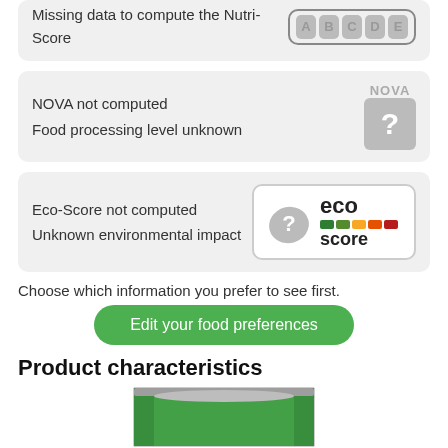Missing data to compute the Nutri-Score
[Figure (illustration): NutriScore badge showing letters A B C D E in grey, indicating score not computed]
NOVA not computed
Food processing level unknown
[Figure (illustration): NOVA badge showing grey question mark box, indicating NOVA not computed]
Eco-Score not computed
Unknown environmental impact
[Figure (logo): Eco-Score badge with grey leaf and question mark, colored bar scale (green to red), text 'eco score']
Choose which information you prefer to see first.
Edit your food preferences
Product characteristics
[Figure (photo): Partial photo of a green product can/tin]